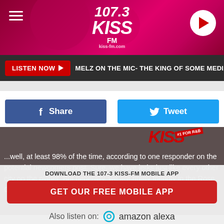[Figure (screenshot): 107.3 KISS FM radio station app header with pink/maroon gradient background, hamburger menu icon on left, 107.3 KISS FM logo in center, play button on right]
LISTEN NOW ▶   MELZ ON THE MIC- THE KING OF SOME MEDIA
Share
Tweet
...well, at least 98% of the time, according to one responder on the potential newcomers post. Sure, we have jerks just like every other city on the planet. But generally, we are pretty friendly in the Rose City.
DOWNLOAD THE 107-3 KISS-FM MOBILE APP
GET OUR FREE MOBILE APP
Also listen on:  amazon alexa